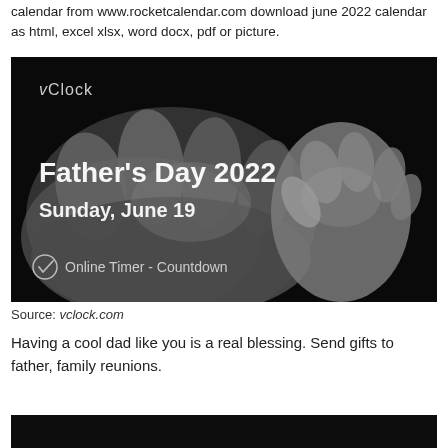calendar from www.rocketcalendar.com download june 2022 calendar as html, excel xlsx, word docx, pdf or picture.
[Figure (photo): Black and white photo of a large adult hand and a small baby hand fist-bumping, with overlaid text: vClock logo, 'Father's Day 2022', 'Sunday, June 19', and 'Online Timer - Countdown']
Source: vclock.com
Having a cool dad like you is a real blessing. Send gifts to father, family reunions.
[Figure (photo): Bottom portion of a dark/black image, partially visible]